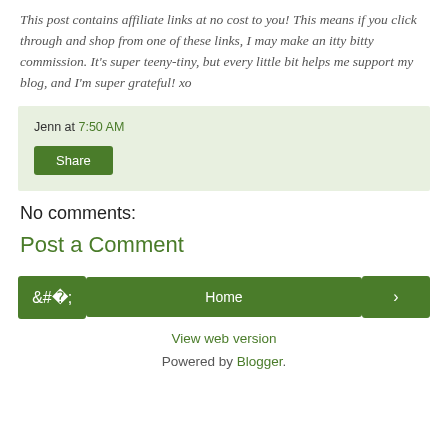This post contains affiliate links at no cost to you! This means if you click through and shop from one of these links, I may make an itty bitty commission. It's super teeny-tiny, but every little bit helps me support my blog, and I'm super grateful! xo
Jenn at 7:50 AM
Share
No comments:
Post a Comment
‹
Home
›
View web version
Powered by Blogger.